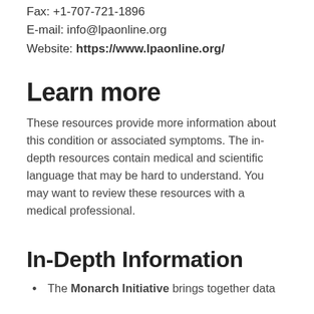Fax: +1-707-721-1896
E-mail: info@lpaonline.org
Website: https://www.lpaonline.org/
Learn more
These resources provide more information about this condition or associated symptoms. The in-depth resources contain medical and scientific language that may be hard to understand. You may want to review these resources with a medical professional.
In-Depth Information
The Monarch Initiative brings together data about this condition from humans and other...